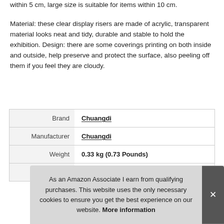within 5 cm, large size is suitable for items within 10 cm.
Material: these clear display risers are made of acrylic, transparent material looks neat and tidy, durable and stable to hold the exhibition. Design: there are some coverings printing on both inside and outside, help preserve and protect the surface, also peeling off them if you feel they are cloudy.
|  |  |
| --- | --- |
| Brand | Chuangdi |
| Manufacturer | Chuangdi |
| Weight | 0.33 kg (0.73 Pounds) |
| Part Number | Chuangdi Display Riser 4... |
As an Amazon Associate I earn from qualifying purchases. This website uses the only necessary cookies to ensure you get the best experience on our website. More information